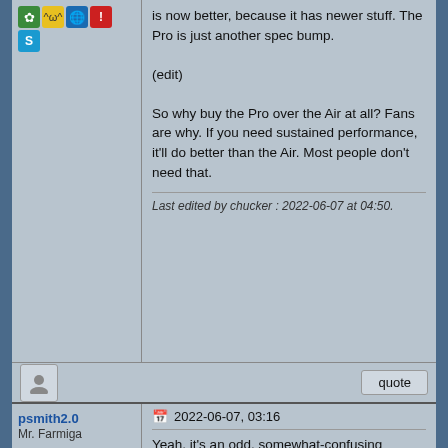[Figure (other): Row of social/messenger icons (shamrock, anime face, globe, alert/Yahoo, Skype)]
is now better, because it has newer stuff. The Pro is just another spec bump.

(edit)

So why buy the Pro over the Air at all? Fans are why. If you need sustained performance, it'll do better than the Air. Most people don't need that.
Last edited by chucker : 2022-06-07 at 04:50.
psmith2.0
Mr. Farmiga
Join Date: May 2004
Location: Tennessee
2022-06-07, 03:16
Yeah, it's an odd, somewhat-confusing scenario. They apparently love that $1,299 model with the Touch Bar, and insist on naming it incorrectly. 😬 Who